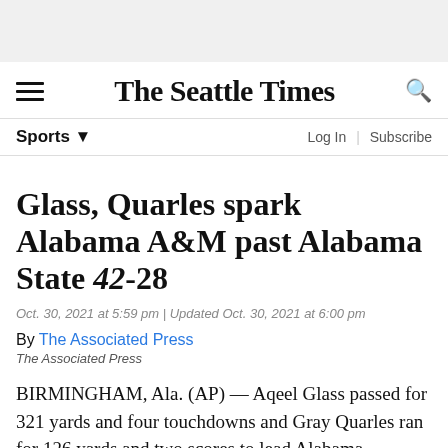The Seattle Times
Sports
Glass, Quarles spark Alabama A&M past Alabama State 42-28
Oct. 30, 2021 at 5:59 pm | Updated Oct. 30, 2021 at 6:00 pm
By The Associated Press
The Associated Press
BIRMINGHAM, Ala. (AP) — Aqeel Glass passed for 321 yards and four touchdowns and Gray Quarles ran for 126 yards and two scores to lead Alabama